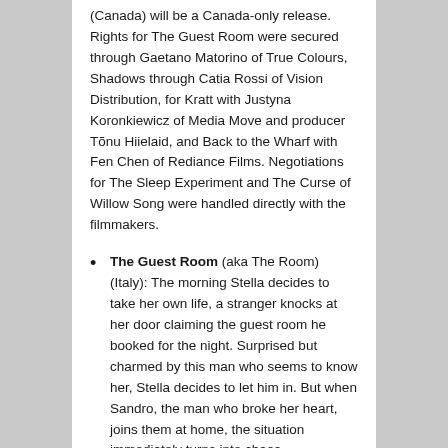(Canada) will be a Canada-only release. Rights for The Guest Room were secured through Gaetano Matorino of True Colours, Shadows through Catia Rossi of Vision Distribution, for Kratt with Justyna Koronkiewicz of Media Move and producer Tõnu Hiielaid, and Back to the Wharf with Fen Chen of Rediance Films. Negotiations for The Sleep Experiment and The Curse of Willow Song were handled directly with the filmmakers.
The Guest Room (aka The Room) (Italy): The morning Stella decides to take her own life, a stranger knocks at her door claiming the guest room he booked for the night. Surprised but charmed by this man who seems to know her, Stella decides to let him in. But when Sandro, the man who broke her heart, joins them at home, the situation immediately turns into chaos.